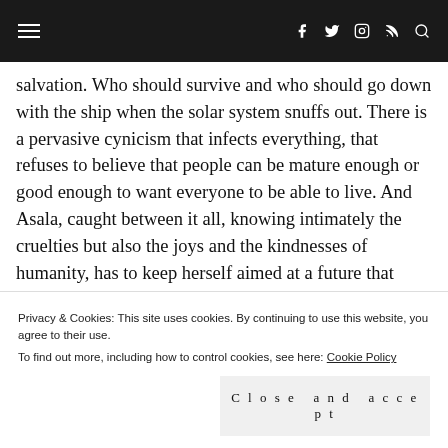Navigation bar with hamburger menu and social icons (Facebook, Twitter, Instagram, RSS, Search)
salvation. Who should survive and who should go down with the ship when the solar system snuffs out. There is a pervasive cynicism that infects everything, that refuses to believe that people can be mature enough or good enough to want everyone to be able to live. And Asala, caught between it all, knowing intimately the cruelties but also the joys and the kindnesses of humanity, has to keep herself aimed at a future that does not rest on a
Privacy & Cookies: This site uses cookies. By continuing to use this website, you agree to their use.
To find out more, including how to control cookies, see here: Cookie Policy
Close and accept